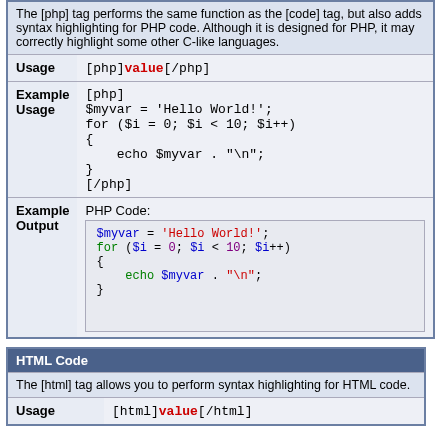|  |  |
| --- | --- |
| (desc) | The [php] tag performs the same function as the [code] tag, but also adds syntax highlighting for PHP code. Although it is designed for PHP, it may correctly highlight some other C-like languages. |
| Usage | [php]value[/php] |
| Example Usage | [php]
$myvar = 'Hello World!';
for ($i = 0; $i < 10; $i++)
{
    echo $myvar . "\n";
}
[/php] |
| Example Output | PHP Code:
$myvar = 'Hello World!';
for ($i = 0; $i < 10; $i++)
{
    echo $myvar . "\n";
} |
| HTML Code |
| --- |
| (desc) | The [html] tag allows you to perform syntax highlighting for HTML code. |
| Usage | [html]value[/html] |